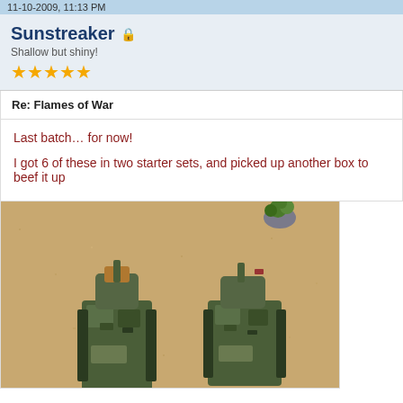11-10-2009, 11:13 PM
Sunstreaker
Shallow but shiny!
Re: Flames of War
Last batch… for now!
I got 6 of these in two starter sets, and picked up another box to beef it up
[Figure (photo): Two miniature tanks painted in green camouflage on a sandy/cork brown tabletop, with a small green bush figure visible in the top right corner]